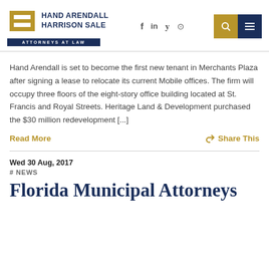HAND ARENDALL HARRISON SALE ATTORNEYS AT LAW
Hand Arendall is set to become the first new tenant in Merchants Plaza after signing a lease to relocate its current Mobile offices. The firm will occupy three floors of the eight-story office building located at St. Francis and Royal Streets. Heritage Land & Development purchased the $30 million redevelopment [...]
Read More
Share This
Wed 30 Aug, 2017
# NEWS
Florida Municipal Attorneys